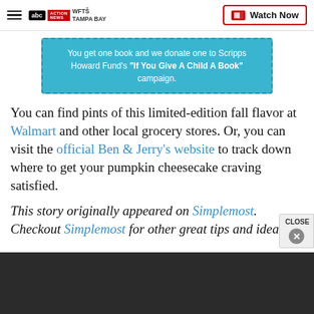WFTŠ TAMPA BAY | Watch Now
[Figure (infographic): Promotional banner: 'You get one book and we donate one to Scripps Howard Fund's "If You Give A Child A Book" campaign.']
You can find pints of this limited-edition fall flavor at Walmart and other local grocery stores. Or, you can visit the official Ben & Jerry's website to track down where to get your pumpkin cheesecake craving satisfied.
This story originally appeared on Simplemost. Checkout Simplemost for other great tips and ideas to better your life